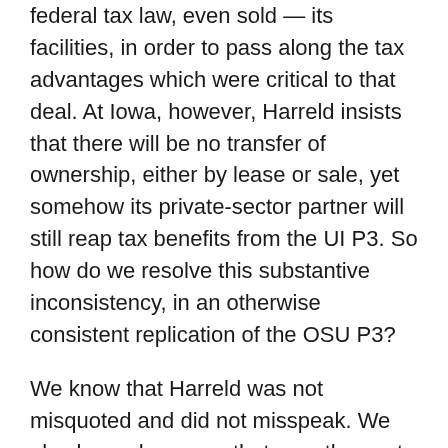federal tax law, even sold — its facilities, in order to pass along the tax advantages which were critical to that deal. At Iowa, however, Harreld insists that there will be no transfer of ownership, either by lease or sale, yet somehow its private-sector partner will still reap tax benefits from the UI P3. So how do we resolve this substantive inconsistency, in an otherwise consistent replication of the OSU P3?
We know that Harreld was not misquoted and did not misspeak. We also know, however, that over the past six months, other than J. Bruce Harreld not a single UI administrator, press release or document has used the words 'lease' or 'leasing' in the context of the UI P3. In fact, the only other person who has mentioned a lease in that context is a former regent, who came out a month ago and